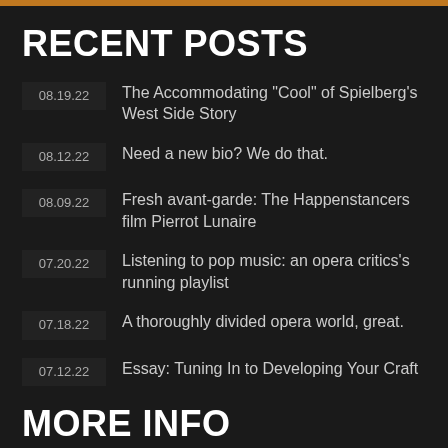RECENT POSTS
08.19.22 — The Accommodating "Cool" of Spielberg's West Side Story
08.12.22 — Need a new bio? We do that.
08.09.22 — Fresh avant-garde: The Happenstancers film Pierrot Lunaire
07.20.22 — Listening to pop music: an opera critics's running playlist
07.18.22 — A thoroughly divided opera world, great.
07.12.22 — Essay: Tuning In to Developing Your Craft
MORE INFO